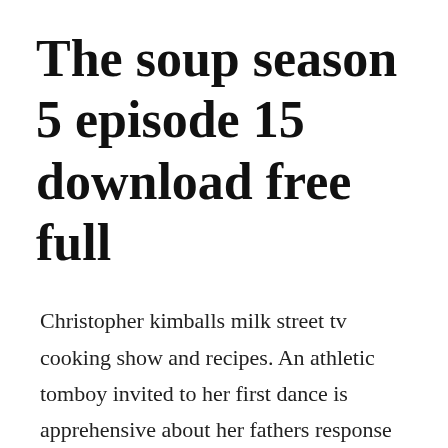The soup season 5 episode 15 download free full
Christopher kimballs milk street tv cooking show and recipes. An athletic tomboy invited to her first dance is apprehensive about her fathers response when he sees her all dressed up. Watch the soup online full episodes of